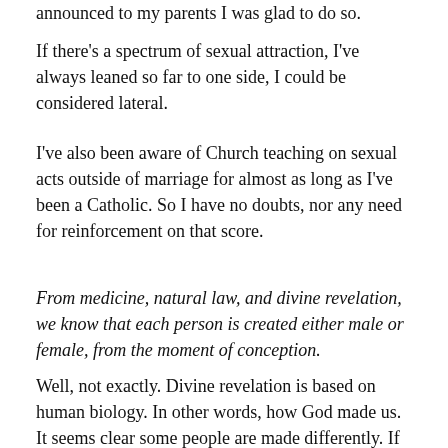announced to my parents I was glad to do so.
If there's a spectrum of sexual attraction, I've always leaned so far to one side, I could be considered lateral.
I've also been aware of Church teaching on sexual acts outside of marriage for almost as long as I've been a Catholic. So I have no doubts, nor any need for reinforcement on that score.
From medicine, natural law, and divine revelation, we know that each person is created either male or female, from the moment of conception.
Well, not exactly. Divine revelation is based on human biology. In other words, how God made us. It seems clear some people are made differently. If they are, natural law would suggest we need to examine how such persons live their lives more carefully, fulfilling their individual natures.